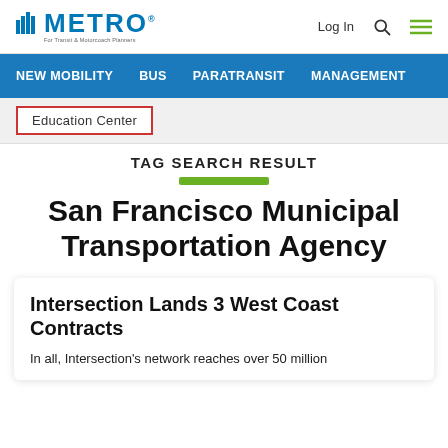METRO — For Transit & Motorcoach Planners | Log In
NEW MOBILITY   BUS   PARATRANSIT   MANAGEMENT
Education Center
TAG SEARCH RESULT
San Francisco Municipal Transportation Agency
Intersection Lands 3 West Coast Contracts
In all, Intersection's network reaches over 50 million